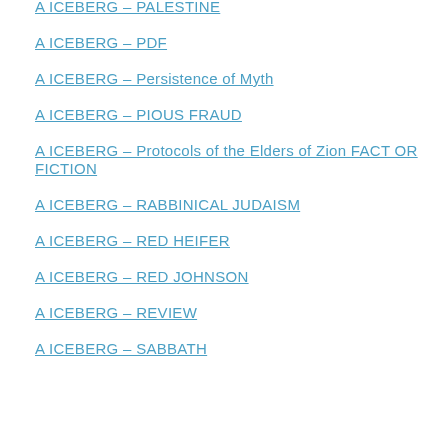A ICEBERG – PALESTINE
A ICEBERG – PDF
A ICEBERG – Persistence of Myth
A ICEBERG – PIOUS FRAUD
A ICEBERG – Protocols of the Elders of Zion FACT OR FICTION
A ICEBERG – RABBINICAL JUDAISM
A ICEBERG – RED HEIFER
A ICEBERG – RED JOHNSON
A ICEBERG – REVIEW
A ICEBERG – SABBATH